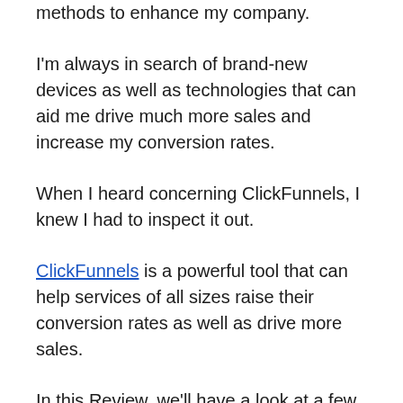methods to enhance my company.
I'm always in search of brand-new devices as well as technologies that can aid me drive much more sales and increase my conversion rates.
When I heard concerning ClickFunnels, I knew I had to inspect it out.
ClickFunnels is a powerful tool that can help services of all sizes raise their conversion rates as well as drive more sales.
In this Review, we'll have a look at a few of